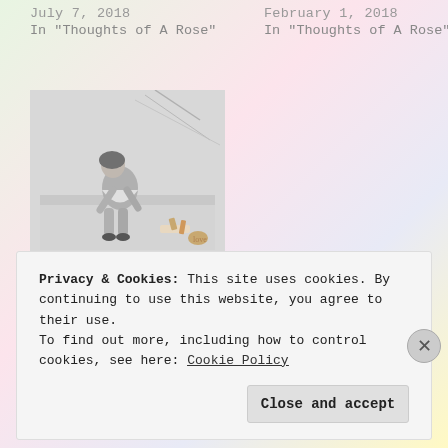July 7, 2018
In "Thoughts of A Rose"
February 1, 2018
In "Thoughts of A Rose"
[Figure (photo): Black and white photo of a young girl sitting hunched over, with art supplies scattered around her. Background has torn paper texture.]
Anxious Writer, Therapy
November 24, 2017
In "Thoughts of A Rose"
Privacy & Cookies: This site uses cookies. By continuing to use this website, you agree to their use.
To find out more, including how to control cookies, see here: Cookie Policy
Close and accept